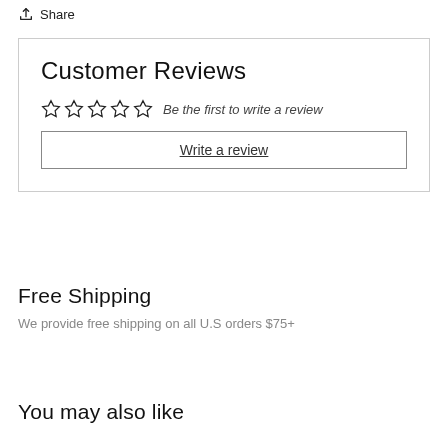Share
Customer Reviews
Be the first to write a review
Write a review
Free Shipping
We provide free shipping on all U.S orders $75+
You may also like